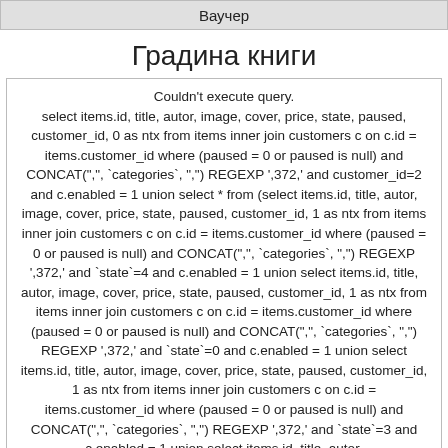Ваучер
Градина книги
Couldn't execute query. select items.id, title, autor, image, cover, price, state, paused, customer_id, 0 as ntx from items inner join customers c on c.id = items.customer_id where (paused = 0 or paused is null) and CONCAT(",", `categories`, ",") REGEXP ',372,' and customer_id=2 and c.enabled = 1 union select * from (select items.id, title, autor, image, cover, price, state, paused, customer_id, 1 as ntx from items inner join customers c on c.id = items.customer_id where (paused = 0 or paused is null) and CONCAT(",", `categories`, ",") REGEXP ',372,' and `state`=4 and c.enabled = 1 union select items.id, title, autor, image, cover, price, state, paused, customer_id, 1 as ntx from items inner join customers c on c.id = items.customer_id where (paused = 0 or paused is null) and CONCAT(",", `categories`, ",") REGEXP ',372,' and `state`=0 and c.enabled = 1 union select items.id, title, autor, image, cover, price, state, paused, customer_id, 1 as ntx from items inner join customers c on c.id = items.customer_id where (paused = 0 or paused is null) and CONCAT(",", `categories`, ",") REGEXP ',372,' and `state`=3 and c.enabled = 1 union select items.id, title, autor,